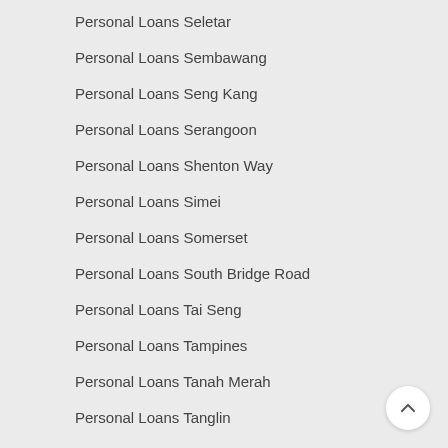Personal Loans Seletar
Personal Loans Sembawang
Personal Loans Seng Kang
Personal Loans Serangoon
Personal Loans Shenton Way
Personal Loans Simei
Personal Loans Somerset
Personal Loans South Bridge Road
Personal Loans Tai Seng
Personal Loans Tampines
Personal Loans Tanah Merah
Personal Loans Tanglin
Personal Loans Tanjong Katong